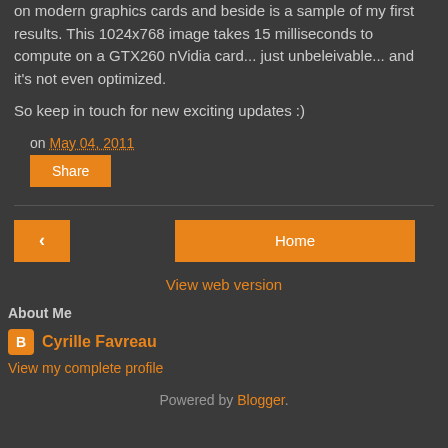on modern graphics cards and beside is a sample of my first results. This 1024x768 image takes 15 milliseconds to compute on a GTX260 nVidia card... just unbeleivable... and it's not even optimized.
So keep in touch for new exciting updates :)
on May 04, 2011
Share
< [prev navigation]
Home
View web version
About Me
Cyrille Favreau
View my complete profile
Powered by Blogger.